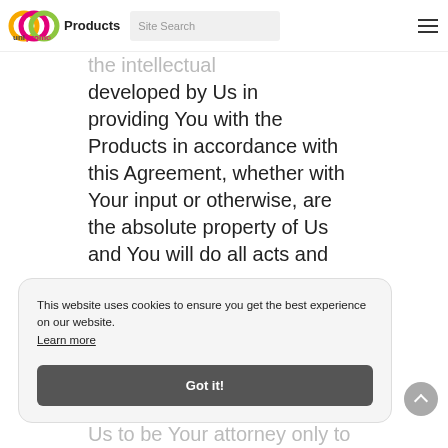Products | Site Search
8.2 – [partially visible] the intellectual property developed by Us in providing You with the Products in accordance with this Agreement, whether with Your input or otherwise, are the absolute property of Us and You will do all acts and
This website uses cookies to ensure you get the best experience on our website. Learn more
Got it!
Us to be Your attorney only to